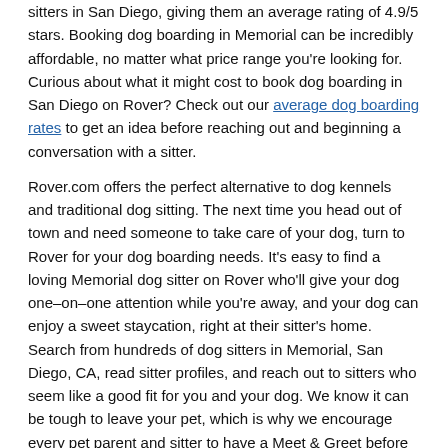sitters in San Diego, giving them an average rating of 4.9/5 stars. Booking dog boarding in Memorial can be incredibly affordable, no matter what price range you're looking for. Curious about what it might cost to book dog boarding in San Diego on Rover? Check out our average dog boarding rates to get an idea before reaching out and beginning a conversation with a sitter.
Rover.com offers the perfect alternative to dog kennels and traditional dog sitting. The next time you head out of town and need someone to take care of your dog, turn to Rover for your dog boarding needs. It's easy to find a loving Memorial dog sitter on Rover who'll give your dog one–on–one attention while you're away, and your dog can enjoy a sweet staycation, right at their sitter's home. Search from hundreds of dog sitters in Memorial, San Diego, CA, read sitter profiles, and reach out to sitters who seem like a good fit for you and your dog. We know it can be tough to leave your pet, which is why we encourage every pet parent and sitter to have a Meet & Greet before booking the stay. With Rover, pet boarding is guilt–free, cashless, and convenient. That way, you can hit the road happy knowing your dog's in loving hands while you're away.
A Daily Treat: A Blog by Rover
Read about town news and more—it's about sitter...